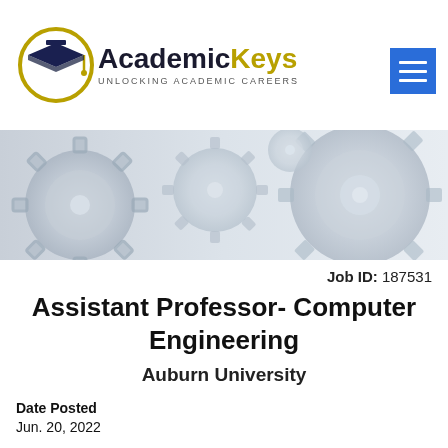[Figure (logo): AcademicKeys logo with graduation cap inside a circle, with text 'AcademicKeys UNLOCKING ACADEMIC CAREERS']
[Figure (photo): Banner image showing close-up of metallic gears in light blue/grey tones]
Job ID: 187531
Assistant Professor- Computer Engineering
Auburn University
Date Posted
Jun. 20, 2022